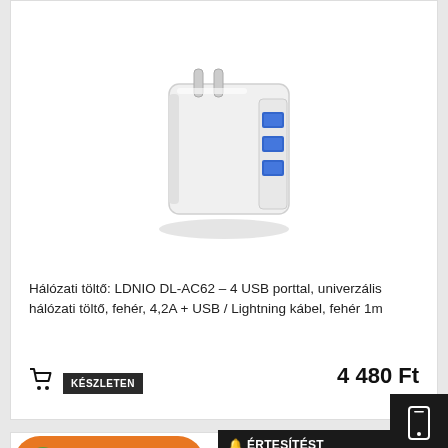[Figure (photo): White USB wall charger - LDNIO DL-AC62 with 4 USB ports and EU plug prongs]
Hálózati töltő: LDNIO DL-AC62 – 4 USB porttal, univerzális hálózati töltő, fehér, 4,2A + USB / Lightning kábel, fehér 1m
KÉSZLETEN
4 480 Ft
Vélemények
🔔 ÉRTESÍTÉST KÉREK, HA A TERMÉK
ℹ 7990 FT-TÓL INGYENES SZÁLLÍTÁS